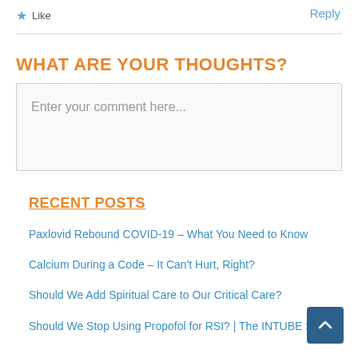★ Like
Reply
WHAT ARE YOUR THOUGHTS?
Enter your comment here...
RECENT POSTS
Paxlovid Rebound COVID-19 – What You Need to Know
Calcium During a Code – It Can't Hurt, Right?
Should We Add Spiritual Care to Our Critical Care?
Should We Stop Using Propofol for RSI? | The INTUBE Study